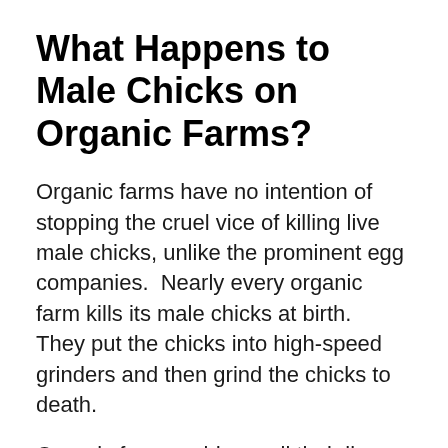What Happens to Male Chicks on Organic Farms?
Organic farms have no intention of stopping the cruel vice of killing live male chicks, unlike the prominent egg companies.  Nearly every organic farm kills its male chicks at birth.  They put the chicks into high-speed grinders and then grind the chicks to death.
Organic farms seldom sell their live male chicks to those keen on keeping chickens